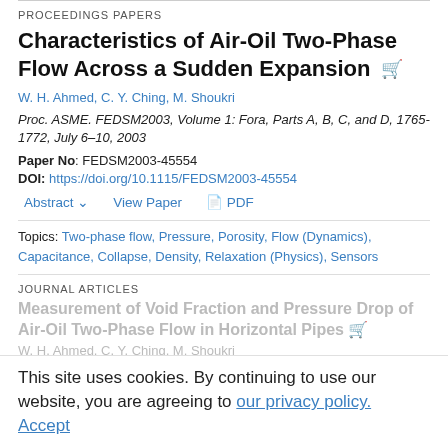PROCEEDINGS PAPERS
Characteristics of Air-Oil Two-Phase Flow Across a Sudden Expansion
W. H. Ahmed, C. Y. Ching, M. Shoukri
Proc. ASME. FEDSM2003, Volume 1: Fora, Parts A, B, C, and D, 1765-1772, July 6–10, 2003
Paper No: FEDSM2003-45554
DOI: https://doi.org/10.1115/FEDSM2003-45554
Abstract  View Paper  PDF
Topics: Two-phase flow, Pressure, Porosity, Flow (Dynamics), Capacitance, Collapse, Density, Relaxation (Physics), Sensors
JOURNAL ARTICLES
Measurement of Void Fraction and Pressure Drop of Air-Oil Two-Phase Flow in Horizontal Pipes
This site uses cookies. By continuing to use our website, you are agreeing to our privacy policy. Accept